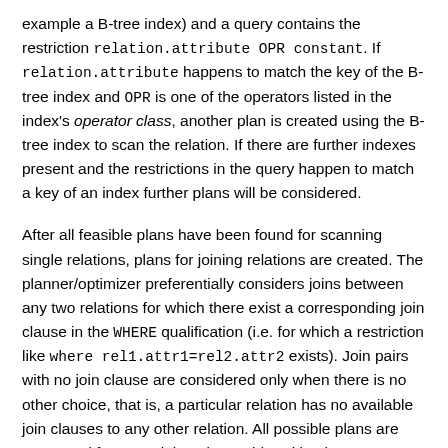example a B-tree index) and a query contains the restriction relation.attribute OPR constant. If relation.attribute happens to match the key of the B-tree index and OPR is one of the operators listed in the index's operator class, another plan is created using the B-tree index to scan the relation. If there are further indexes present and the restrictions in the query happen to match a key of an index further plans will be considered.
After all feasible plans have been found for scanning single relations, plans for joining relations are created. The planner/optimizer preferentially considers joins between any two relations for which there exist a corresponding join clause in the WHERE qualification (i.e. for which a restriction like where rel1.attr1=rel2.attr2 exists). Join pairs with no join clause are considered only when there is no other choice, that is, a particular relation has no available join clauses to any other relation. All possible plans are generated for every join pair considered by the planner/optimizer. The three possible join strategies are: